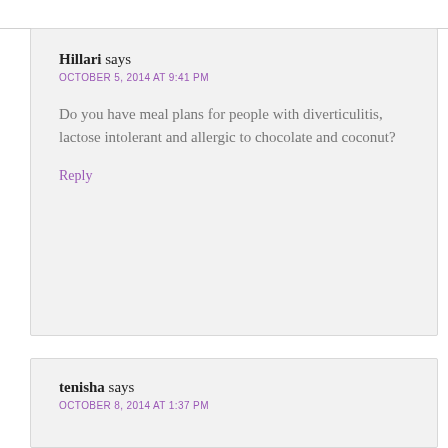Hillari says
OCTOBER 5, 2014 AT 9:41 PM
Do you have meal plans for people with diverticulitis, lactose intolerant and allergic to chocolate and coconut?
Reply
tenisha says
OCTOBER 8, 2014 AT 1:37 PM